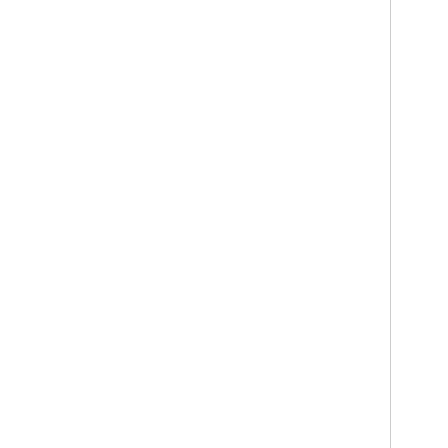2.4.4.  Additional Considerations
So far the primary concern has been to validate the sender and that data in transit has not been altered. Some extensions have been implemented, but they are not consistently deployed. The deployment concerns have been primarily software bugs and the lack of causing significant network down time while deploying MD5 authentication. Many ISPs and prefer to use a combination of tools such as GTSM (for BGP) and filter, but it is not supported on all hardware products.
IPsec is not deployed since ensuring interoperability is difficult and time consuming to be done, and the concern to the confidentiality, integrity and validity of